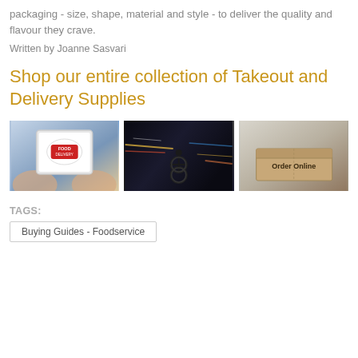packaging - size, shape, material and style - to deliver the quality and flavour they crave.
Written by Joanne Sasvari
Shop our entire collection of Takeout and Delivery Supplies
[Figure (photo): Three photos side by side: left - person holding tablet with Food Delivery app; center - cyclist on dark city street with motion blur lights; right - cardboard box with Order Online text]
TAGS:
Buying Guides - Foodservice